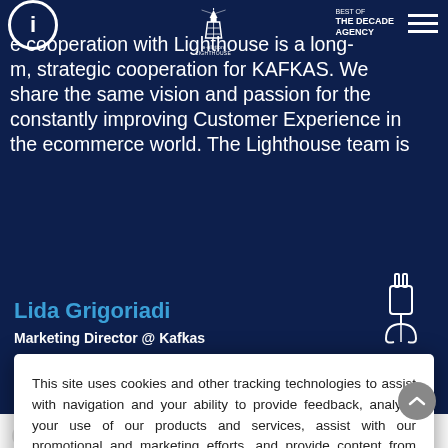The cooperation with Lighthouse is a long-term, strategic cooperation for KAFKAS. We share the same vision and passion for the constantly improving Customer Experience in the ecommerce world. The Lighthouse team is
Lida Grigoriadi
Marketing Director @ Kafkas
This site uses cookies and other tracking technologies to assist with navigation and your ability to provide feedback, analyse your use of our products and services, assist with our promotional and marketing efforts, and provide content from third parties.
Learn more
Accept